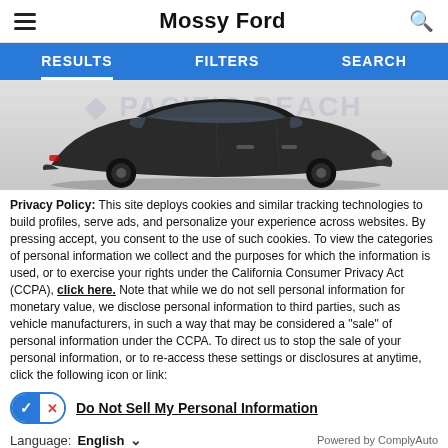Mossy Ford
[Figure (screenshot): Navigation tabs: RESULTS, FILTERS, SEARCH on blue background]
[Figure (photo): Dark gray/black SUV car (Ford Mach-E style) on a light gray background with Pacific Beach watermark]
Privacy Policy: This site deploys cookies and similar tracking technologies to build profiles, serve ads, and personalize your experience across websites. By pressing accept, you consent to the use of such cookies. To view the categories of personal information we collect and the purposes for which the information is used, or to exercise your rights under the California Consumer Privacy Act (CCPA), click here. Note that while we do not sell personal information for monetary value, we disclose personal information to third parties, such as vehicle manufacturers, in such a way that may be considered a "sale" of personal information under the CCPA. To direct us to stop the sale of your personal information, or to re-access these settings or disclosures at anytime, click the following icon or link:
Do Not Sell My Personal Information
Language: English
Powered by ComplyAuto
Accept and Continue → California Privacy Disclosures